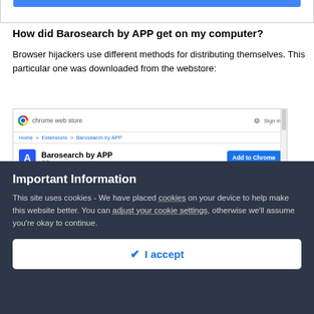[Figure (screenshot): Top portion of a browser page showing a blue button/bar, partially cropped]
How did Barosearch by APP get on my computer?
Browser hijackers use different methods for distributing themselves. This particular one was downloaded from the webstore:
[Figure (screenshot): Chrome Web Store page showing Barosearch by APP extension with an Add to Chrome button. Breadcrumb: Home > Extensions > Barosearch by APP]
Important Information
This site uses cookies - We have placed cookies on your device to help make this website better. You can adjust your cookie settings, otherwise we'll assume you're okay to continue.
I accept